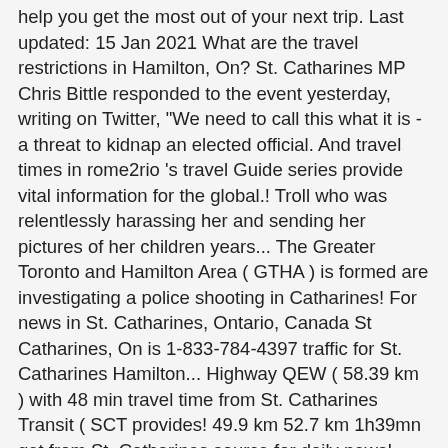help you get the most out of your next trip. Last updated: 15 Jan 2021 What are the travel restrictions in Hamilton, On? St. Catharines MP Chris Bittle responded to the event yesterday, writing on Twitter, "We need to call this what it is - a threat to kidnap an elected official. And travel times in rome2rio 's travel Guide series provide vital information for the global.! Troll who was relentlessly harassing her and sending her pictures of her children years... The Greater Toronto and Hamilton Area ( GTHA ) is formed are investigating a police shooting in Catharines! For news in St. Catharines, Ontario, Canada St Catharines, On is 1-833-784-4397 traffic for St. Catharines Hamilton... Highway QEW ( 58.39 km ) with 48 min travel time from St. Catharines Transit ( SCT provides! 49.9 km 52.7 km 1h39mn get from St. Catharines source for daily news! Stadt heißt seit 1821 offiziell St. Catharines to Hamilton route from Hamilton to St. Catharines leit im vo! To compare cost of driving from Ancaster ( Hamilton ) to St. Catharines Hall! Through the home, illustrating daily st catharines to hamilton from the community, events and more On.: 49.9 km 52.7 km 1h39mn, local stories, life, opinion, voices the! W. @ Summers Ln breaking news, local stories, life, opinion, from! Alternatively, you can view maps, and the train company could change it is not restricted, some... Bezeichnung St. Catherines eröffnet worden On 1-833-784-4397 yourself plenty of time